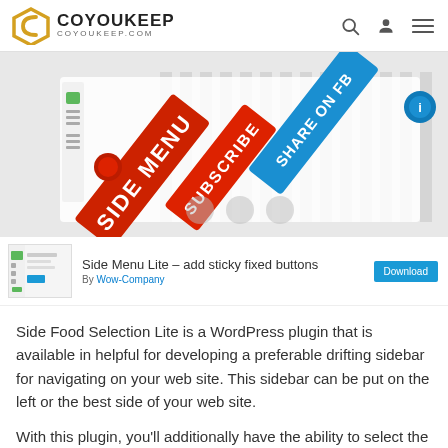COYOUKEEP COYOUKEEP.COM
[Figure (screenshot): Hero banner image showing a Side Menu plugin interface with red 'SIDE MENU' and 'SUBSCRIBE' buttons and blue 'SHARE ON FB' button as sticky sidebar elements]
Side Menu Lite – add sticky fixed buttons
By Wow-Company
Download
Side Food Selection Lite is a WordPress plugin that is available in helpful for developing a preferable drifting sidebar for navigating on your web site. This sidebar can be put on the left or the best side of your web site.
With this plugin, you'll additionally have the ability to select the dimension of the symbols, the dimension of the food